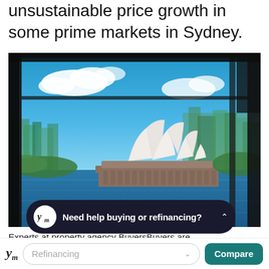unsustainable price growth in some prime markets in Sydney.
[Figure (photo): Sydney Opera House viewed through a glass window frame, with harbour and city skyline in the background under blue sky with clouds.]
Need help buying or refinancing?
Experts at property agency BuyersBuyers are
Refinancing
Compare